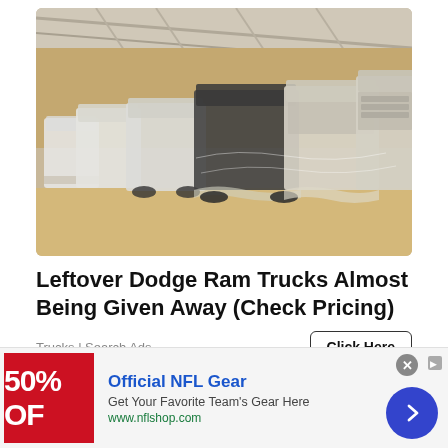[Figure (photo): Row of Dodge Ram trucks covered in plastic wrap/protective sheeting parked inside a large warehouse or storage facility with sandy floor and metal roof structure.]
Leftover Dodge Ram Trucks Almost Being Given Away (Check Pricing)
Trucks | Search Ads
[Figure (photo): Banner advertisement for Official NFL Gear showing a red promotional image with '50% OF' text (partially visible), NFL shop details, and a blue arrow button on the right.]